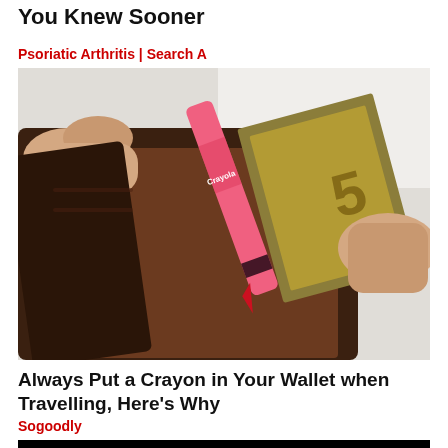You Knew Sooner
Psoriatic Arthritis | Search A
[Figure (photo): Hands opening a brown leather wallet containing a red Crayola crayon and euro banknotes]
Always Put a Crayon in Your Wallet when Travelling, Here's Why
Sogoodly
[Figure (photo): Black banner with yellow bold text reading MARINE CORPS]